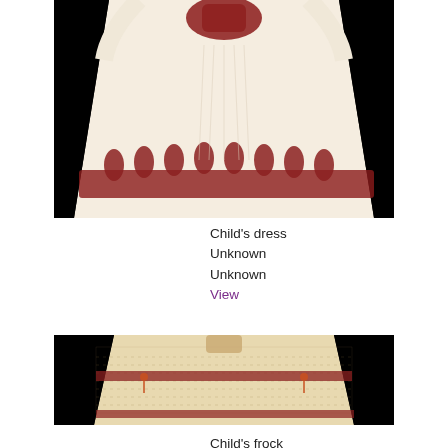[Figure (photo): Child's dress displayed flat with embroidered floral border at hem and neckline, cream/white fabric with dark red embroidery, black background]
Child's dress
Unknown
Unknown
View
[Figure (photo): Child's frock displayed flat, cream/beige fabric with small dot/stitch pattern allover, dark red horizontal trim bands, small orange tassels at sides, black background]
Child's frock
Unknown
Unknown
View